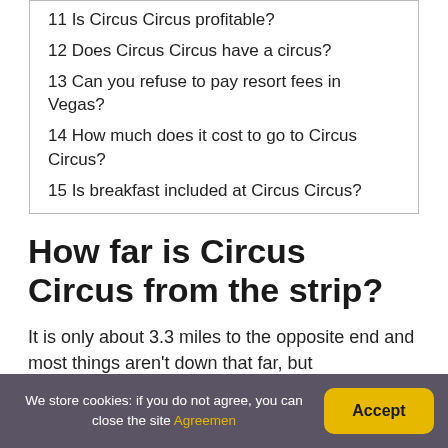11 Is Circus Circus profitable?
12 Does Circus Circus have a circus?
13 Can you refuse to pay resort fees in Vegas?
14 How much does it cost to go to Circus Circus?
15 Is breakfast included at Circus Circus?
How far is Circus Circus from the strip?
It is only about 3.3 miles to the opposite end and most things aren't down that far, but
We store cookies: if you do not agree, you can close the site Agreement